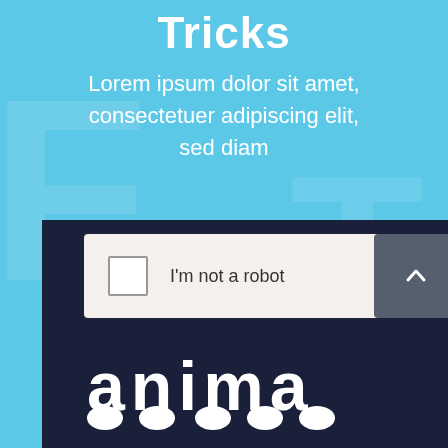Tricks
Lorem ipsum dolor sit amet, consectetuer adipiscing elit, sed diam
[Figure (screenshot): A CAPTCHA widget showing a checkbox labeled 'I'm not a robot' with a cream/off-white background, alongside a dark grey scroll-to-top arrow button. Below is a dark navy panel with white decorative logo text at the bottom, partly visible.]